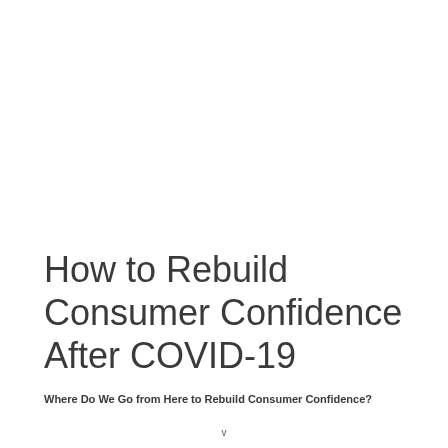How to Rebuild Consumer Confidence After COVID-19
Where Do We Go from Here to Rebuild Consumer Confidence?
v